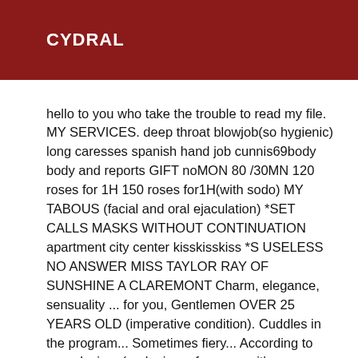CYDRAL
hello to you who take the trouble to read my file. MY SERVICES. deep throat blowjob(so hygienic) long caresses spanish hand job cunnis69body body and reports GIFT noMON 80 /30MN 120 roses for 1H 150 roses for1H(with sodo) MY TABOUS (facial and oral ejaculation) *SET CALLS MASKS WITHOUT CONTINUATION apartment city center kisskisskiss *S USELESS NO ANSWER MISS TAYLOR RAY OF SUNSHINE A CLAREMONT Charm, elegance, sensuality ... for you, Gentlemen OVER 25 YEARS OLD (imperative condition). Cuddles in the program... Sometimes fiery... According to your desires (and mine, of course... it's an exchange...), but also the atmosphere.... Tell me about your desires... If our expectations meet, we will probably cross paths. A story, even a fleeting one, is written by two. About me ... 32 years old black hair, brown eyes, ebony skin. 1 m 74, 74kilos, 100 D of chest size (I resist to the silicone...